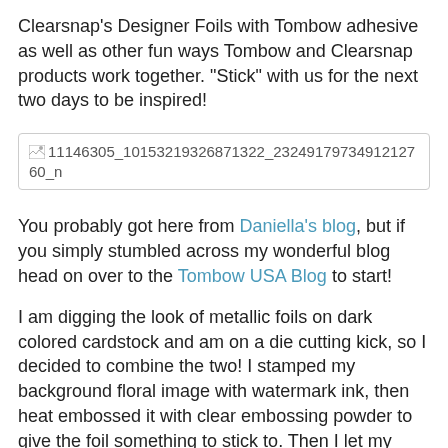Clearsnap's Designer Foils with Tombow adhesive as well as other fun ways Tombow and Clearsnap products work together. "Stick" with us for the next two days to be inspired!
[Figure (photo): Broken image placeholder with filename: 11146305_10153219326871322_2324917973491212760_n]
You probably got here from Daniella's blog, but if you simply stumbled across my wonderful blog head on over to the Tombow USA Blog to start!
I am digging the look of metallic foils on dark colored cardstock and am on a die cutting kick, so I decided to combine the two! I stamped my background floral image with watermark ink, then heat embossed it with clear embossing powder to give the foil something to stick to. Then I let my laminator get good and hot, laid a piece of Clearsnap Winter Sky Designer Foil over the top of it, and ran it through. I grabbed a word die and cut (3) words out of matching black cardstock and the last layer out of my foiled piece. To make it easier to inlay the words back in, I used my Tombow Mono